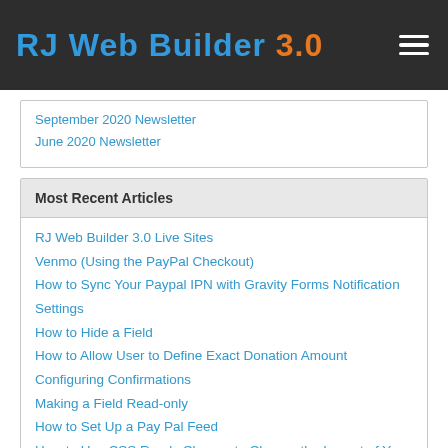RJ Web Builder 3.0
September 2020 Newsletter
June 2020 Newsletter
Most Recent Articles
RJ Web Builder 3.0 Live Sites
Venmo (Using the PayPal Checkout)
How to Sync Your Paypal IPN with Gravity Forms Notification Settings
How to Hide a Field
How to Allow User to Define Exact Donation Amount
Configuring Confirmations
Making a Field Read-only
How to Set Up a Pay Pal Feed
How to Use CSS Ready Classes to Change the Layout of Your Forms
How to Pass Payment Transaction Fees to Your Members